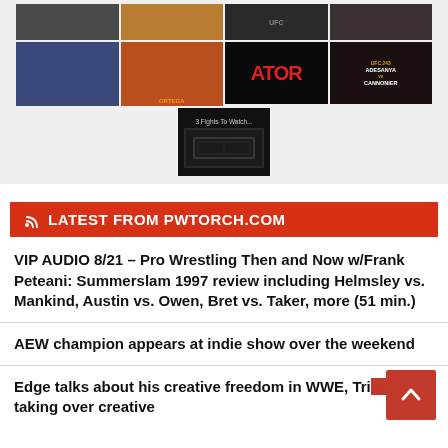[Figure (photo): Grid of MMA/wrestling event thumbnail images, two rows of four images each plus one centered image below]
LATEST FROM PWTORCH.COM
VIP AUDIO 8/21 – Pro Wrestling Then and Now w/Frank Peteani: Summerslam 1997 review including Helmsley vs. Mankind, Austin vs. Owen, Bret vs. Taker, more (51 min.)
AEW champion appears at indie show over the weekend
Edge talks about his creative freedom in WWE, Triple H taking over creative